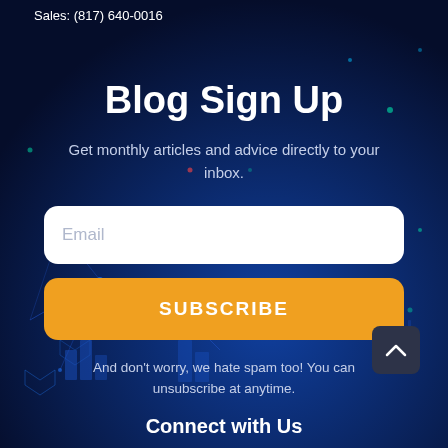Sales: (817) 640-0016
Blog Sign Up
Get monthly articles and advice directly to your inbox.
Email
SUBSCRIBE
And don't worry, we hate spam too! You can unsubscribe at anytime.
Connect with Us